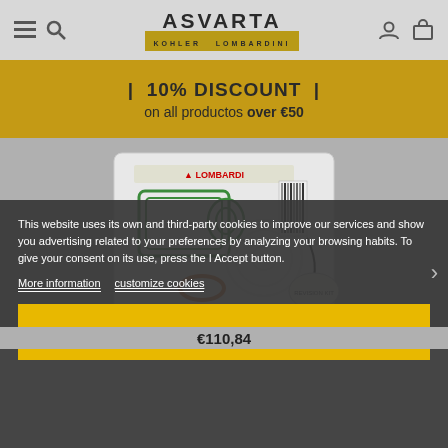ASVARTA - KOHLER LOMBARDINI
| 10% DISCOUNT | on all productos over €50
[Figure (photo): Lombardi engine gasket kit set product photo on grey background]
This website uses its own and third-party cookies to improve our services and show you advertising related to your preferences by analyzing your browsing habits. To give your consent on its use, press the I Accept button.
More information   customize cookies
I ACCEPT
€110,84